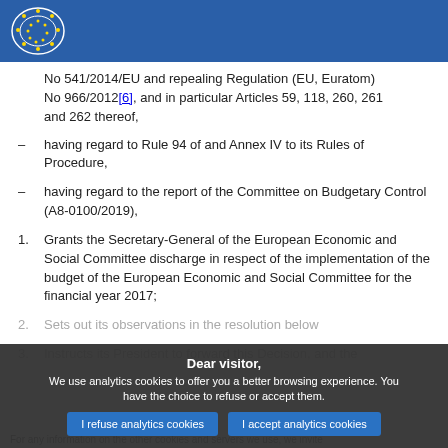European Parliament header
No 541/2014/EU and repealing Regulation (EU, Euratom) No 966/2012[6], and in particular Articles 59, 118, 260, 261 and 262 thereof,
– having regard to Rule 94 of and Annex IV to its Rules of Procedure,
– having regard to the report of the Committee on Budgetary Control (A8-0100/2019),
1. Grants the Secretary-General of the European Economic and Social Committee discharge in respect of the implementation of the budget of the European Economic and Social Committee for the financial year 2017;
2. Sets out its observations in the resolution below
3. Instructs its President to forward this Decision, and the
Dear visitor, We use analytics cookies to offer you a better browsing experience. You have the choice to refuse or accept them.
I refuse analytics cookies   I accept analytics cookies
For any information on the other cookies and servers we use, we invite